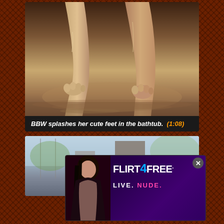[Figure (photo): Video thumbnail showing wet feet/legs in a bathtub with water, brownish tones]
BBW splashes her cute feet in the bathtub.  (1:08)
[Figure (photo): Second video thumbnail partially visible, showing an outdoor scene]
[Figure (other): FLIRT4FREE advertisement overlay with model photo, logo and tagline LIVE. NUDE., with close X button]